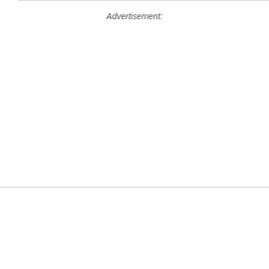Advertisement:
The infamous Nuremberg Laws are also evoked at the beginning. Fast forward to the end, with footage and pictures showing the results of The Holocaust